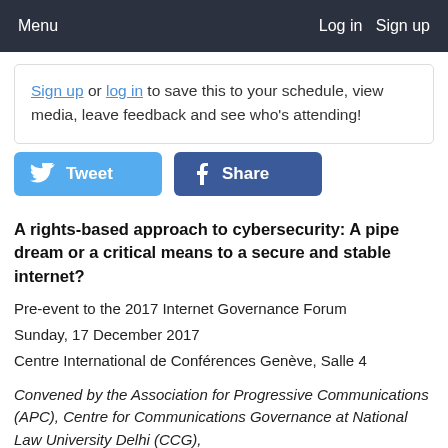Menu   Log in   Sign up
Sign up or log in to save this to your schedule, view media, leave feedback and see who's attending!
[Figure (other): Tweet and Share social buttons (Twitter and Facebook)]
A rights-based approach to cybersecurity: A pipe dream or a critical means to a secure and stable internet?
Pre-event to the 2017 Internet Governance Forum
Sunday, 17 December 2017
Centre International de Conférences Genève, Salle 4
Convened by the Association for Progressive Communications (APC), Centre for Communications Governance at National Law University Delhi (CCG),